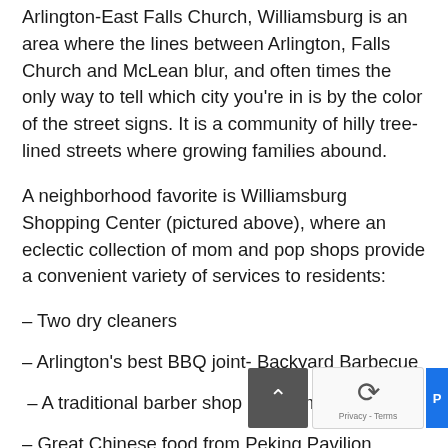Arlington-East Falls Church, Williamsburg is an area where the lines between Arlington, Falls Church and McLean blur, and often times the only way to tell which city you're in is by the color of the street signs. It is a community of hilly tree-lined streets where growing families abound.
A neighborhood favorite is Williamsburg Shopping Center (pictured above), where an eclectic collection of mom and pop shops provide a convenient variety of services to residents:
– Two dry cleaners
– Arlington's best BBQ joint- Backyard Barbecue
– A traditional barber shop and a modern salon
– Great Chinese food from Peking Pavilion.
Some of the shops, like Backyard Barbecue for example, are owned by neighborhood residents,